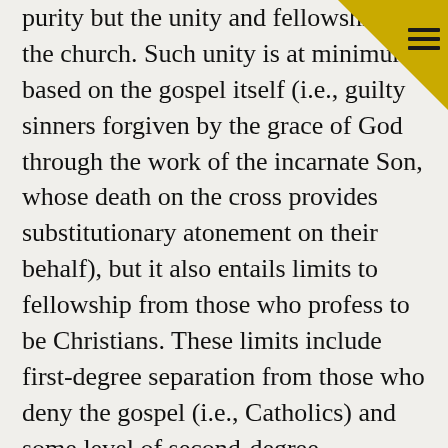purity but the unity and fellowship of the church. Such unity is at minimum based on the gospel itself (i.e., guilty sinners forgiven by the grace of God through the work of the incarnate Son, whose death on the cross provides substitutionary atonement on their behalf), but it also entails limits to fellowship from those who profess to be Christians. These limits include first-degree separation from those who deny the gospel (i.e., Catholics) and some level of second-degree separation from those who cooperate with those who deny the gospel. Though Bauder distances himself from extremes within the fundamentalist movement (such as the King James Only crowd), he avers that mainstream fundamentalism still must distance itself from evangelicalism as a whole: “As